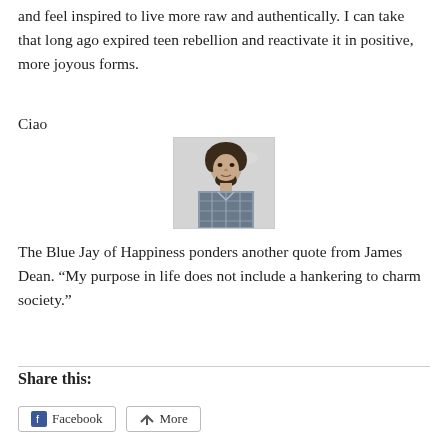and feel inspired to live more raw and authentically. I can take that long ago expired teen rebellion and reactivate it in positive, more joyous forms.
Ciao
[Figure (photo): Black and white portrait photo of a young man with beard and plaid shirt]
The Blue Jay of Happiness ponders another quote from James Dean. “My purpose in life does not include a hankering to charm society.”
Share this:
Facebook   More